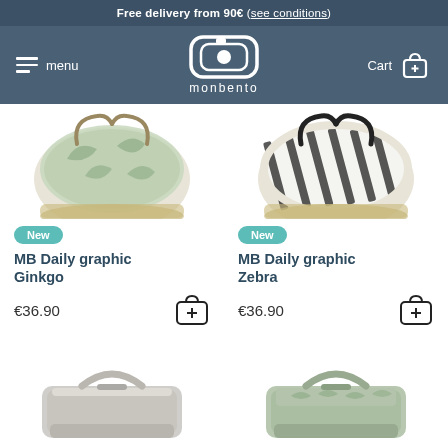Free delivery from 90€ (see conditions)
[Figure (screenshot): Monbento navigation header with hamburger menu, monbento logo, and cart icon]
[Figure (photo): MB Daily graphic Ginkgo bag product photo - round bento bag with green floral/ginkgo pattern on white background with beige base]
[Figure (photo): MB Daily graphic Zebra bag product photo - round bento bag with black and white zebra stripe pattern]
New
MB Daily graphic Ginkgo
€36.90
New
MB Daily graphic Zebra
€36.90
[Figure (photo): Grey lunch box / bento box product photo - rectangular container with handle, light grey color]
[Figure (photo): Sage green lunch box / bento box product photo - rectangular container with handle, green leaf/sage pattern]